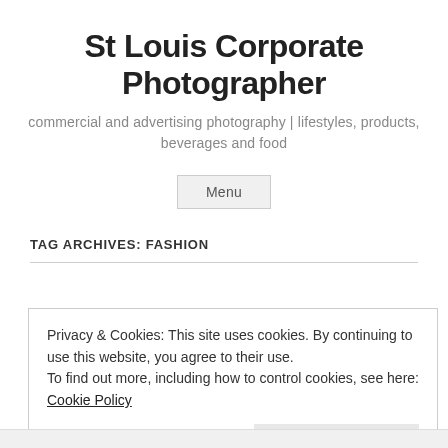St Louis Corporate Photographer
commercial and advertising photography | lifestyles, products, beverages and food
Menu
TAG ARCHIVES: FASHION
Privacy & Cookies: This site uses cookies. By continuing to use this website, you agree to their use.
To find out more, including how to control cookies, see here: Cookie Policy
Close and accept